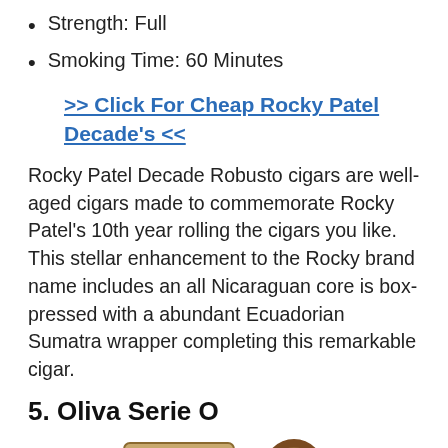Strength: Full
Smoking Time: 60 Minutes
>> Click For Cheap Rocky Patel Decade's <<
Rocky Patel Decade Robusto cigars are well-aged cigars made to commemorate Rocky Patel's 10th year rolling the cigars you like. This stellar enhancement to the Rocky brand name includes an all Nicaraguan core is box-pressed with a abundant Ecuadorian Sumatra wrapper completing this remarkable cigar.
5. Oliva Serie O
[Figure (photo): Two cigars shown at the bottom of the page - a cigar box/packaging on the left and a round cigar on the right.]